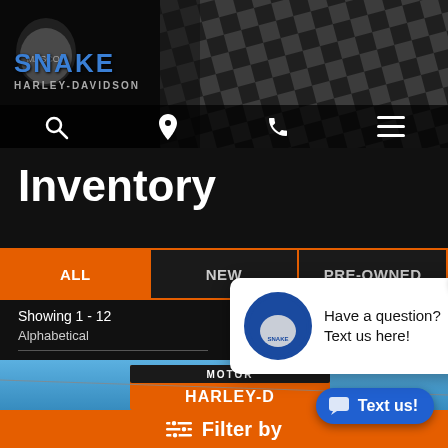[Figure (screenshot): Snake Harley-Davidson website header with checkered flag background, logo of snake and motorcycle mascot, navigation icons for search, location, phone, and menu]
Inventory
[Figure (screenshot): Tab bar with ALL (active/orange), NEW, PRE-OWNED tabs with orange border]
Showing 1 - 12
Alphabetical
[Figure (screenshot): Chat popup with Snake Harley-Davidson logo and text: Have a question? Text us here! with blue X close button]
[Figure (screenshot): Bottom image showing Harley-Davidson Motor sign with blue sky background]
Filter by
[Figure (screenshot): Blue Text us! button with chat bubble icon in bottom right corner]